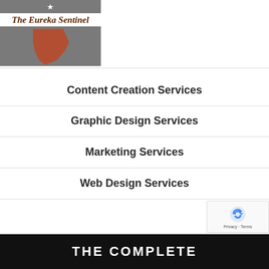[Figure (logo): The Eureka Sentinel newspaper logo with star icon, title text in gothic/blackletter font, and Nevada state map silhouette in rust/terracotta color on grey background]
Content Creation Services
Graphic Design Services
Marketing Services
Web Design Services
[Figure (screenshot): Bottom black banner showing partial text THE COMPLETE in white uppercase letters, with reCAPTCHA badge overlay in lower right]
THE COMPLETE